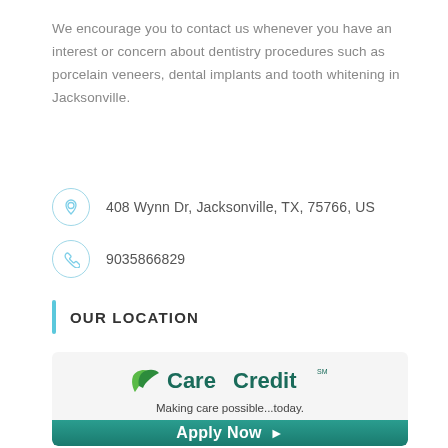We encourage you to contact us whenever you have an interest or concern about dentistry procedures such as porcelain veneers, dental implants and tooth whitening in Jacksonville.
408 Wynn Dr, Jacksonville, TX, 75766, US
9035866829
OUR LOCATION
[Figure (logo): CareCredit logo with tagline 'Making care possible...today.' and an 'Apply Now' button]